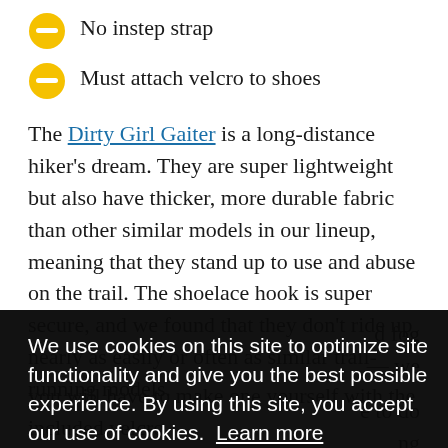No instep strap
Must attach velcro to shoes
The Dirty Girl Gaiter is a long-distance hiker's dream. They are super lightweight but also have thicker, more durable fabric than other similar models in our lineup, meaning that they stand up to use and abuse on the trail. The shoelace hook is super secure, and we found that they don't ride up nearly as easily or often as similar trail-running models.
We use cookies on this site to optimize site functionality and give you the best possible experience. By using this site, you accept our use of cookies.  Learn more
you will have to make one yourself with the included velcro